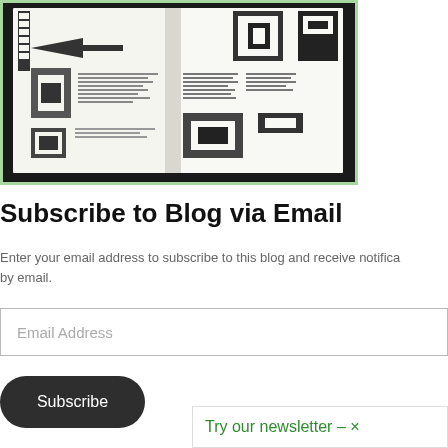[Figure (photo): Open book spread showing black and white graphic design layouts with geometric shapes, film strips, typographic elements and experimental design imagery, bordered with a light green frame.]
Subscribe to Blog via Email
Enter your email address to subscribe to this blog and receive notifica by email.
Email Address
Subscribe
Try our newsletter – ×